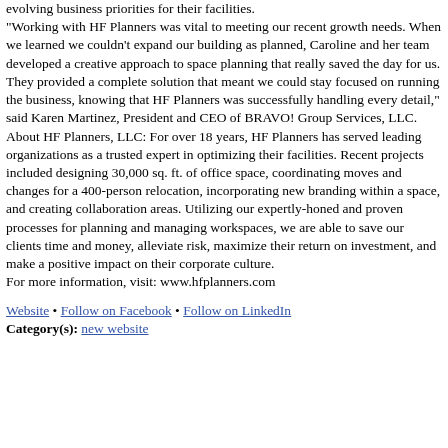evolving business priorities for their facilities. “Working with HF Planners was vital to meeting our recent growth needs. When we learned we couldn’t expand our building as planned, Caroline and her team developed a creative approach to space planning that really saved the day for us. They provided a complete solution that meant we could stay focused on running the business, knowing that HF Planners was successfully handling every detail,” said Karen Martinez, President and CEO of BRAVO! Group Services, LLC. About HF Planners, LLC: For over 18 years, HF Planners has served leading organizations as a trusted expert in optimizing their facilities. Recent projects included designing 30,000 sq. ft. of office space, coordinating moves and changes for a 400-person relocation, incorporating new branding within a space, and creating collaboration areas. Utilizing our expertly-honed and proven processes for planning and managing workspaces, we are able to save our clients time and money, alleviate risk, maximize their return on investment, and make a positive impact on their corporate culture. For more information, visit: www.hfplanners.com
Website • Follow on Facebook • Follow on LinkedIn
Category(s): new website